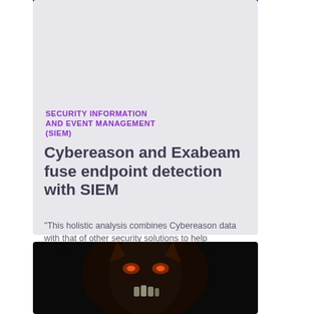[Figure (photo): Dark blue background photo showing a hand reaching toward a bright glowing light]
SECURITY INFORMATION AND EVENT MANAGEMENT (SIEM)
Cybereason and Exabeam fuse endpoint detection with SIEM
"This holistic analysis combines Cybereason data with that of other security solutions to help customers detect complex threats."
[Figure (photo): Dark photo showing a person wearing a sinister monster/villain mask with glowing eyes]